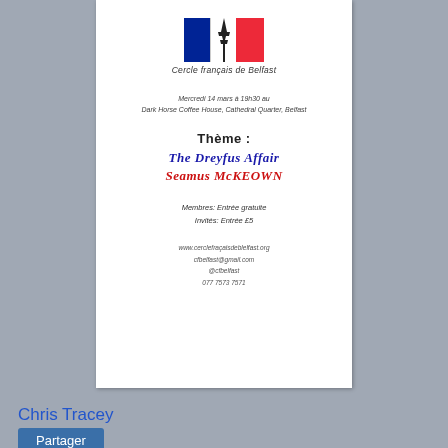[Figure (logo): Cercle français de Belfast logo with French flag (blue, white, red) and Eiffel Tower silhouette]
Cercle français de Belfast
Mercredi 14 mars à 19h30 au
Dark Horse Coffee House, Cathedral Quarter, Belfast
Thème :
The Dreyfus Affair
Seamus McKEOWN
Membres: Entrée gratuite
Invités: Entrée £5
www.cerclefraçaisdeblelfast.org
cfbelfast@gmail.com
@cfbelfast
077 7573 7571
Chris Tracey
Partager